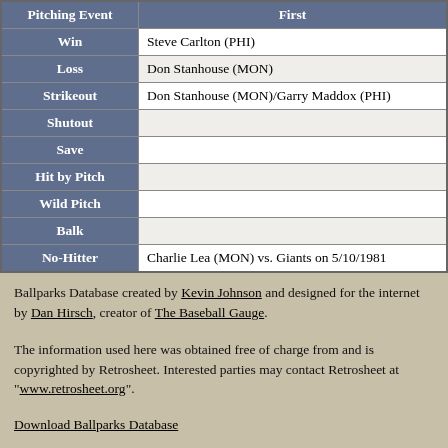| Pitching Event | First |
| --- | --- |
| Win | Steve Carlton (PHI) |
| Loss | Don Stanhouse (MON) |
| Strikeout | Don Stanhouse (MON)/Garry Maddox (PHI) |
| Shutout |  |
| Save |  |
| Hit by Pitch |  |
| Wild Pitch |  |
| Balk |  |
| No-Hitter | Charlie Lea (MON) vs. Giants on 5/10/1981 |
Ballparks Database created by Kevin Johnson and designed for the internet by Dan Hirsch, creator of The Baseball Gauge.
The information used here was obtained free of charge from and is copyrighted by Retrosheet. Interested parties may contact Retrosheet at "www.retrosheet.org".
Download Ballparks Database
Download MS Access version
Download SQLite version